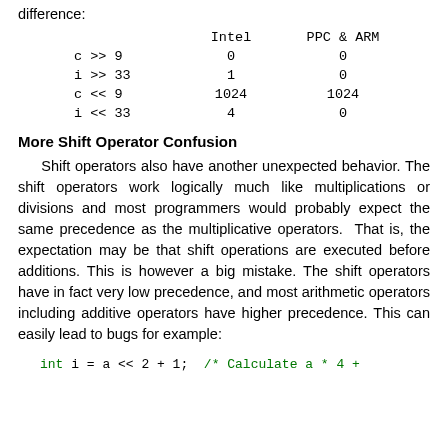difference:
|  | Intel | PPC & ARM |
| --- | --- | --- |
| c >> 9 | 0 | 0 |
| i >> 33 | 1 | 0 |
| c << 9 | 1024 | 1024 |
| i << 33 | 4 | 0 |
More Shift Operator Confusion
Shift operators also have another unexpected behavior. The shift operators work logically much like multiplications or divisions and most programmers would probably expect the same precedence as the multiplicative operators. That is, the expectation may be that shift operations are executed before additions. This is however a big mistake. The shift operators have in fact very low precedence, and most arithmetic operators including additive operators have higher precedence. This can easily lead to bugs for example:
int i = a << 2 + 1; /* Calculate a * 4 +